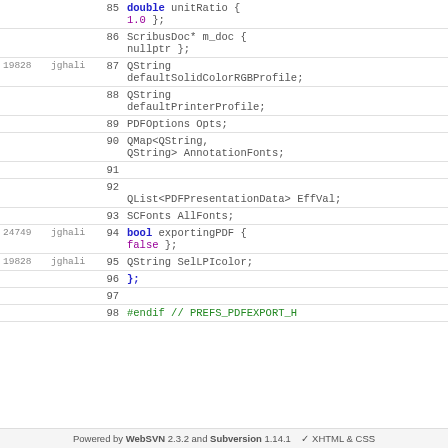| rev | author | line | code |
| --- | --- | --- | --- |
|  |  | 85 | double unitRatio { 1.0 }; |
|  |  | 86 | ScribusDoc* m_doc { nullptr }; |
| 19828 | jghali | 87 | QString defaultSolidColorRGBProfile; |
|  |  | 88 | QString defaultPrinterProfile; |
|  |  | 89 | PDFOptions Opts; |
|  |  | 90 | QMap<QString, QString> AnnotationFonts; |
|  |  | 91 |  |
|  |  | 92 | QList<PDFPresentationData> EffVal; |
|  |  | 93 | SCFonts AllFonts; |
| 24749 | jghali | 94 | bool exportingPDF { false }; |
| 19828 | jghali | 95 | QString SelLPIcolor; |
|  |  | 96 | }; |
|  |  | 97 |  |
|  |  | 98 | #endif // PREFS_PDFEXPORT_H |
Powered by WebSVN 2.3.2 and Subversion 1.14.1   ✓ XHTML & CSS